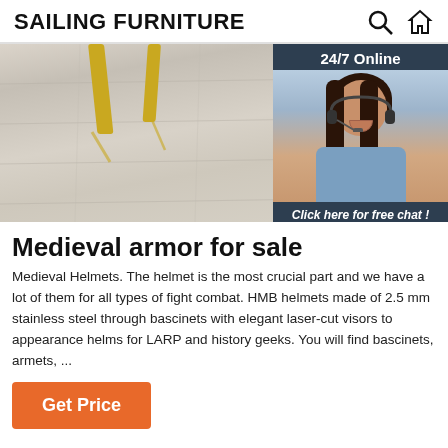SAILING FURNITURE
[Figure (photo): Hero image showing a light wood laminate floor with yellow metal chair legs visible at the top, overlaid with a 24/7 online chat widget featuring a female customer service representative wearing a headset, with a 'Click here for free chat!' link and an orange QUOTATION button.]
Medieval armor for sale
Medieval Helmets. The helmet is the most crucial part and we have a lot of them for all types of fight combat. HMB helmets made of 2.5 mm stainless steel through bascinets with elegant laser-cut visors to appearance helms for LARP and history geeks. You will find bascinets, armets, ...
Get Price